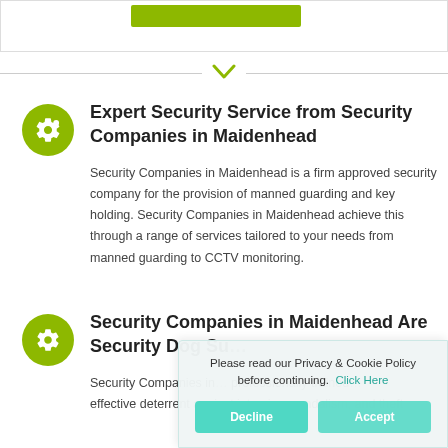[Figure (screenshot): Top banner area with a green button/bar element]
[Figure (infographic): Horizontal divider line with olive/yellow-green chevron down icon in center]
Expert Security Service from Security Companies in Maidenhead
Security Companies in Maidenhead is a firm approved security company for the provision of manned guarding and key holding. Security Companies in Maidenhead achieve this through a range of services tailored to your needs from manned guarding to CCTV monitoring.
Security Companies in Maidenhead Are Security Dog Su...
Security Companies in... professionally trained... effective deterrent against intrusion, vandalism, and theft
Please read our Privacy & Cookie Policy before continuing. Click Here
Decline
Accept